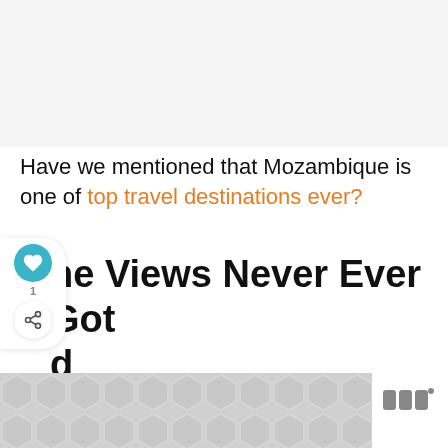[Figure (photo): Light gray placeholder image area at top of page]
Have we mentioned that Mozambique is one of top travel destinations ever?
ne Views Never Ever Got d
WHAT'S NEXT → Our Entire Africa Travel...
[Figure (other): Advertisement banner with gray geometric hexagon pattern and Whisk logo]